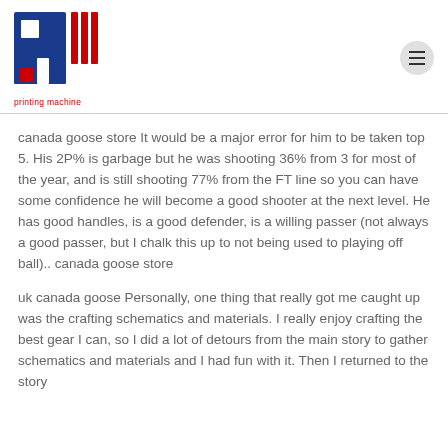[Figure (logo): Printing Machine logo: blue and red PM icon with vertical stripes, and 'printing machine' text below in red]
canada goose store It would be a major error for him to be taken top 5. His 2P% is garbage but he was shooting 36% from 3 for most of the year, and is still shooting 77% from the FT line so you can have some confidence he will become a good shooter at the next level. He has good handles, is a good defender, is a willing passer (not always a good passer, but I chalk this up to not being used to playing off ball).. canada goose store
uk canada goose Personally, one thing that really got me caught up was the crafting schematics and materials. I really enjoy crafting the best gear I can, so I did a lot of detours from the main story to gather schematics and materials and I had fun with it. Then I returned to the story